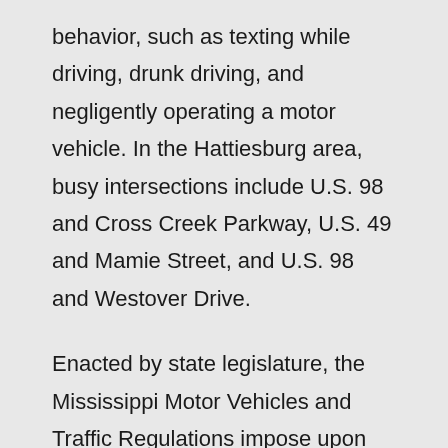behavior, such as texting while driving, drunk driving, and negligently operating a motor vehicle. In the Hattiesburg area, busy intersections include U.S. 98 and Cross Creek Parkway, U.S. 49 and Mamie Street, and U.S. 98 and Westover Drive.
Enacted by state legislature, the Mississippi Motor Vehicles and Traffic Regulations impose upon drivers a duty to operate their motor vehicles in a safe and risk-free manner. Unfortunately, however, many drivers fail to do so, acting negligently and harming other drivers, passengers, and pedestrians.